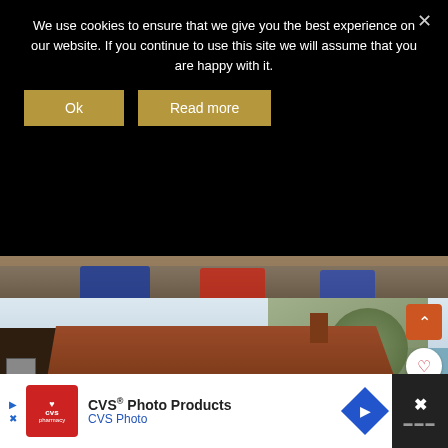We use cookies to ensure that we give you the best experience on our website. If you continue to use this site we will assume that you are happy with it.
[Figure (screenshot): Cookie consent banner with Ok and Read more buttons on dark background]
[Figure (photo): Bottom of a photo showing people's legs and feet on rocky ground]
[Figure (photo): Blue-painted building with brown tile roof labelled Sea Rock Tea Rooms and Sea Gardens, with cliff in background. Overlaid icons: orange up-arrow, white heart, white share button, and What's Next thumbnail for Work Life Balance.]
[Figure (screenshot): CVS Photo Products advertisement banner with CVS pharmacy logo, navigation arrow icon, and close button]